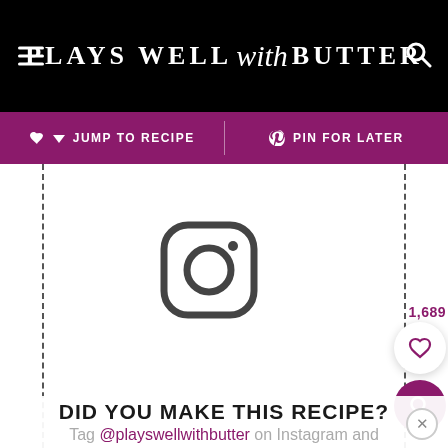PLAYS WELL with BUTTER
↓ JUMP TO RECIPE   PIN FOR LATER
[Figure (logo): Instagram logo icon - rounded square camera outline in dark gray]
1,689
DID YOU MAKE THIS RECIPE?
Tag @playswellwithbutter on Instagram and